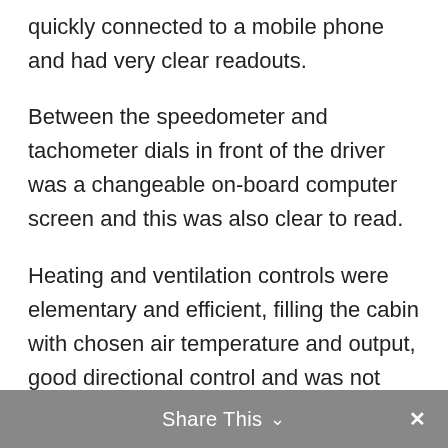quickly connected to a mobile phone and had very clear readouts.
Between the speedometer and tachometer dials in front of the driver was a changeable on-board computer screen and this was also clear to read.
Heating and ventilation controls were elementary and efficient, filling the cabin with chosen air temperature and output, good directional control and was not particularly noisy. Four power window buttons were close to these.
Share This ∨  ✕